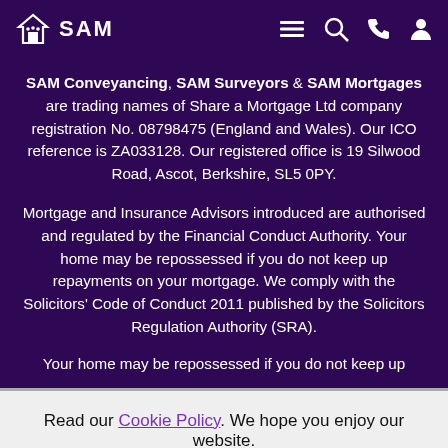SAM Conveyancing | SAM Surveyors | SAM Mortgages - navigation header
SAM Conveyancing, SAM Surveyors & SAM Mortgages are trading names of Share a Mortgage Ltd company registration No. 08798475 (England and Wales). Our ICO reference is ZA033128. Our registered office is 19 Silwood Road, Ascot, Berkshire, SL5 0PY.
Mortgage and Insurance Advisors introduced are authorised and regulated by the Financial Conduct Authority. Your home may be repossessed if you do not keep up repayments on your mortgage. We comply with the Solicitors' Code of Conduct 2011 published by the Solicitors Regulation Authority (SRA).
Your home may be repossessed if you do not keep up
Read our Cookie Policy. We hope you enjoy our website.